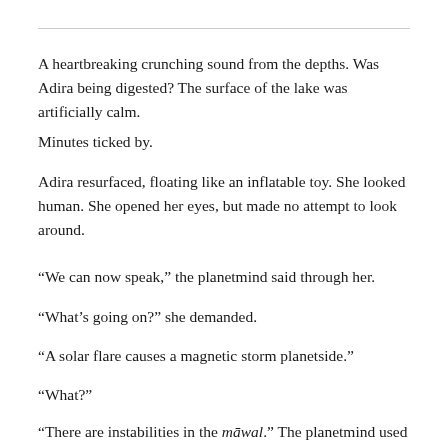A heartbreaking crunching sound from the depths. Was Adira being digested? The surface of the lake was artificially calm.
Minutes ticked by.
Adira resurfaced, floating like an inflatable toy. She looked human. She opened her eyes, but made no attempt to look around.
“We can now speak,” the planetmind said through her.
“What’s going on?” she demanded.
“A solar flare causes a magnetic storm planetside.”
“What?”
“There are instabilities in the māwal.” The planetmind used